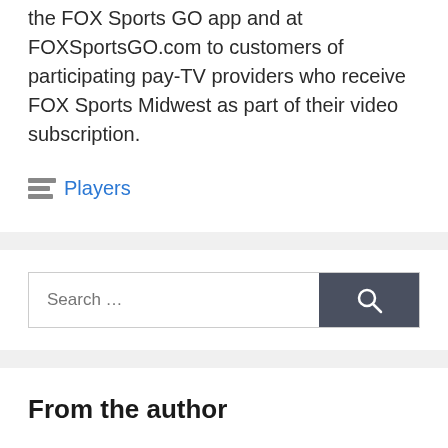the FOX Sports GO app and at FOXSportsGO.com to customers of participating pay-TV providers who receive FOX Sports Midwest as part of their video subscription.
Players
From the author